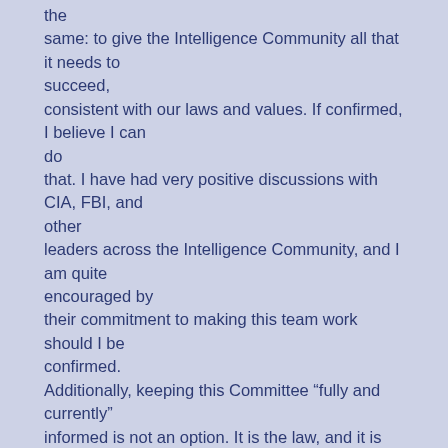the same: to give the Intelligence Community all that it needs to succeed, consistent with our laws and values. If confirmed, I believe I can do that. I have had very positive discussions with CIA, FBI, and other leaders across the Intelligence Community, and I am quite encouraged by their commitment to making this team work should I be confirmed. Additionally, keeping this Committee “fully and currently” informed is not an option. It is the law, and it is our solemn obligation. I was a young Air Force officer at NSA in the seventies, and watched the Church-Pike hearings, which led to, among other things, the establishment of the intelligence oversight committees in both Houses of Congress. I am a strong believer in the need for an informed Congress. I say this not only as an intelligence-career professional, but as a citizen who interacts with the intelligence community.